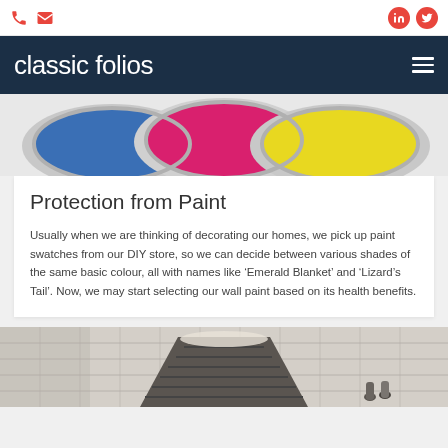classic folios — navigation bar with phone, email, LinkedIn, Twitter icons
[Figure (photo): Paint cans with blue, pink/magenta, and yellow paint viewed from above]
Protection from Paint
Usually when we are thinking of decorating our homes, we pick up paint swatches from our DIY store, so we can decide between various shades of the same basic colour, all with names like ‘Emerald Blanket’ and ‘Lizard’s Tail’. Now, we may start selecting our wall paint based on its health benefits.
[Figure (photo): Underground subway station interior with staircase and tiled walls]